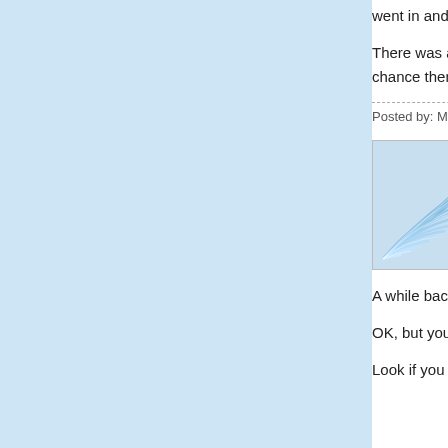went in and found no reasonable evid ignored in the justifications the White.
There was a very good special on Bil evidence versus the media coverage that there was a very decent chance them. But apparently we had no evid and we decided to go on that "he wa legitimate 1% chance.
Posted by: Mike | November 05, 2007 at 05:0
[Figure (illustration): Avatar image with a blue wave/shell fan design on light background]
[First I would propose to help you with
Well, I would propose to help you with
A while back you were complaining th evolution and this was unfair because thinking was possible.
OK, but your response to someone's something like "but which gives me th
Look if you post about evolution to ge you baning on about evolution all the